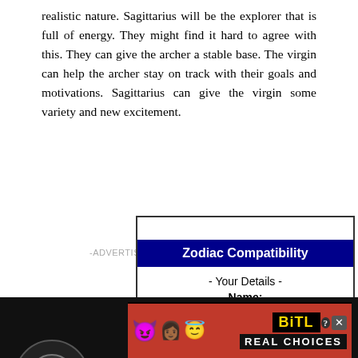realistic nature. Sagittarius will be the explorer that is full of energy. They might find it hard to agree with this. They can give the archer a stable base. The virgin can help the archer stay on track with their goals and motivations. Sagittarius can give the virgin some variety and new excitement.
[Figure (screenshot): Zodiac Compatibility widget with dark blue header, showing '- Your Details -' and 'Name:' fields. An advertisement label appears to the left.]
[Figure (screenshot): Video overlay on dark background showing 'How To Open 7 Chakras - Meditation and Healing - SunSigns.Org' with a circular thumbnail placeholder and a close button (x).]
[Figure (screenshot): BitLife 'Real Choices' advertisement banner with red background, emojis, and BitLife logo in yellow/black.]